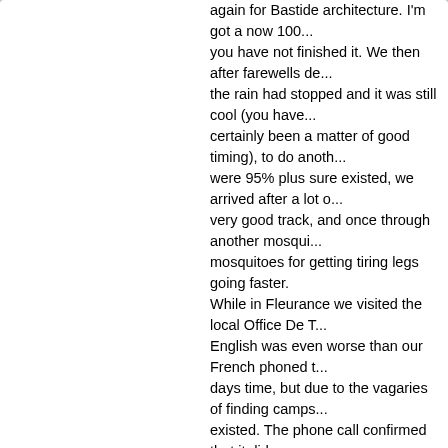again for Bastide architecture. I'm got a now 100... you have not finished it. We then after farewells de... the rain had stopped and it was still cool (you have... certainly been a matter of good timing), to do anoth... were 95% plus sure existed, we arrived after a lot o... very good track, and once through another mosqui... mosquitoes for getting tiring legs going faster. While in Fleurance we visited the local Office De T... English was even worse than our French phoned t... days time, but due to the vagaries of finding camps... existed. The phone call confirmed that it did, so ma... time. This is another Dutch run site but completely differ... and offered a biere, and given a pilgrim discount a... the evening. The son of the owners has done the G... from here!) so can't be far away now. We have also had contact fro Graham (an old East... staying with friends in Bergerac. We had hoped to... few weeks too early for him. The current plan is to... Tarbes next week if it can be so arranged.
Link to where we are on Google Maps
Tags:
E-Mail | Kick it! | DZone it! | del.icio.us
To Lectoure and then a bit.
By Administrator